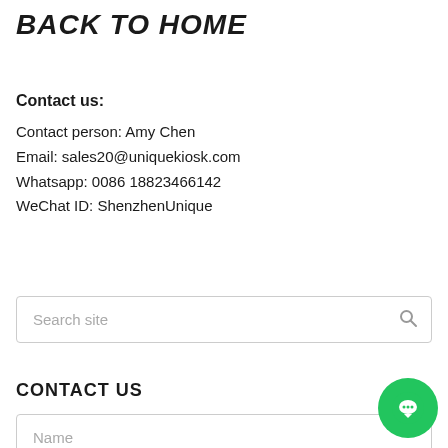BACK TO HOME
Contact us:
Contact person: Amy Chen
Email: sales20@uniquekiosk.com
Whatsapp: 0086 18823466142
WeChat ID: ShenzhenUnique
Search site
CONTACT US
Name